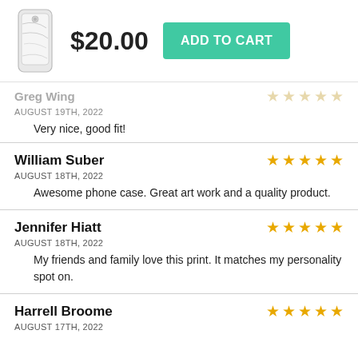[Figure (photo): Phone case product thumbnail image]
$20.00
ADD TO CART
Greg Wing
AUGUST 19TH, 2022
Very nice, good fit!
William Suber
AUGUST 18TH, 2022
Awesome phone case. Great art work and a quality product.
Jennifer Hiatt
AUGUST 18TH, 2022
My friends and family love this print. It matches my personality spot on.
Harrell Broome
AUGUST 17TH, 2022